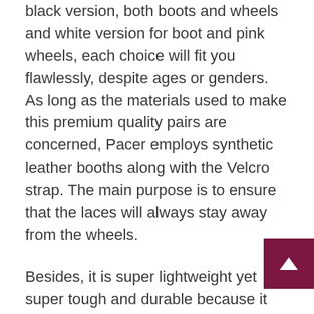black version, both boots and wheels and white version for boot and pink wheels, each choice will fit you flawlessly, despite ages or genders. As long as the materials used to make this premium quality pairs are concerned, Pacer employs synthetic leather booths along with the Velcro strap. The main purpose is to ensure that the laces will always stay away from the wheels.
Besides, it is super lightweight yet super tough and durable because it uses the nylon plates top with the fixed toe stop. As the wheels are ABEC-3 bearing, it is ideal for indoor ink use. With Pacer, your speed skates riding experience will never be the same.
Provided above is a curated roundup of the top 10